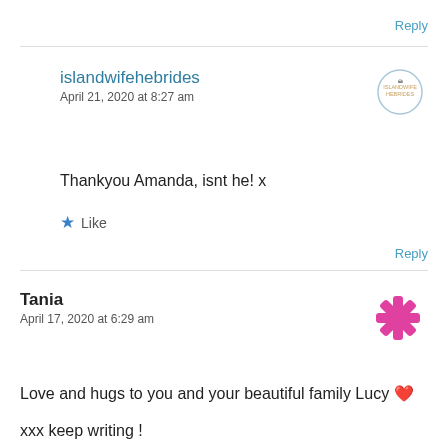Reply
islandwifehebrides
April 21, 2020 at 8:27 am
Thankyou Amanda, isnt he! x
Like
Reply
Tania
April 17, 2020 at 6:29 am
Love and hugs to you and your beautiful family Lucy ❤️
xxx keep writing !